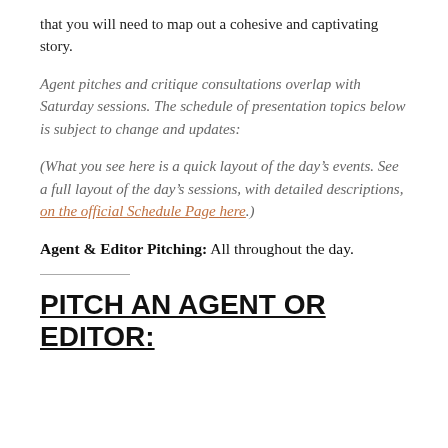that you will need to map out a cohesive and captivating story.
Agent pitches and critique consultations overlap with Saturday sessions. The schedule of presentation topics below is subject to change and updates:
(What you see here is a quick layout of the day’s events. See a full layout of the day’s sessions, with detailed descriptions, on the official Schedule Page here.)
Agent & Editor Pitching: All throughout the day.
PITCH AN AGENT OR EDITOR: